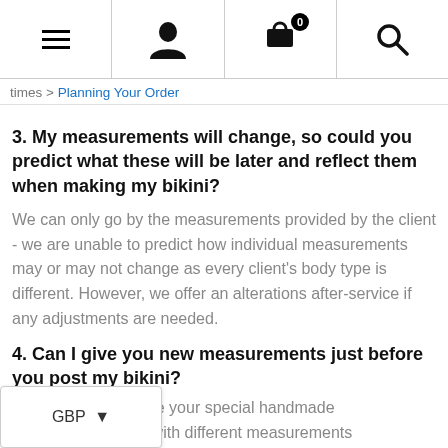Navigation bar with menu, account, cart (0), and search icons
times > Planning Your Order
3. My measurements will change, so could you predict what these will be later and reflect them when making my bikini?
We can only go by the measurements provided by the client - we are unable to predict how individual measurements may or may not change as every client's body type is different. However, we offer an alterations after-service if any adjustments are needed.
4. Can I give you new measurements just before you post my bikini?
We... le to re-make your special handmade ...t last minute with different measurements to the ones originally provided - our gorgeous garments